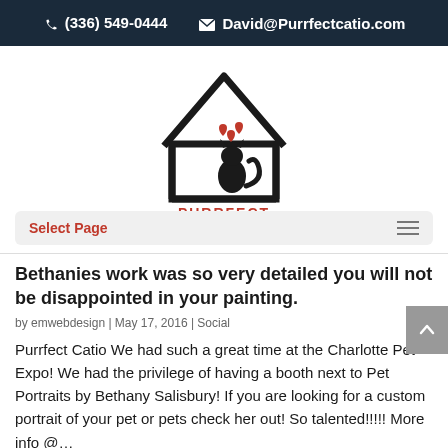☎ (336) 549-0444   ✉ David@Purrfectcatio.com
[Figure (logo): Purrfect Catio logo: a house outline with a black cat silhouette inside and red hearts above, with text PURRFECT CATIO below]
Select Page
Bethanies work was so very detailed you will not be disappointed in your painting.
by emwebdesign | May 17, 2016 | Social
Purrfect Catio We had such a great time at the Charlotte Pet Expo! We had the privilege of having a booth next to Pet Portraits by Bethany Salisbury! If you are looking for a custom portrait of your pet or pets check her out! So talented!!!!! More info @…